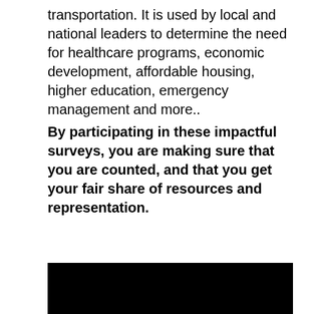transportation. It is used by local and national leaders to determine the need for healthcare programs, economic development, affordable housing, higher education, emergency management and more..
By participating in these impactful surveys, you are making sure that you are counted, and that you get your fair share of resources and representation.
[Figure (photo): A black rectangular image region, likely a photo or video thumbnail that is not visible (appears fully black).]